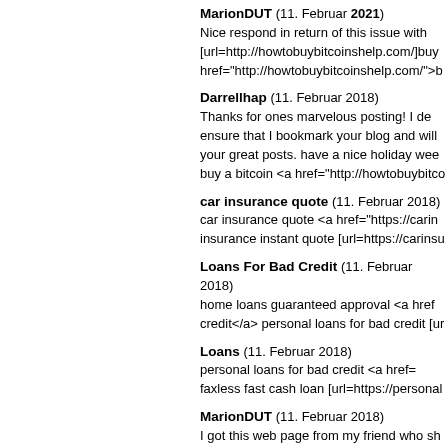MarionDUT (11. Februar 2021) Nice respond in return of this issue with [url=http://howtobuybitcoinshelp.com/]buy href="http://howtobuybitcoinshelp.com/">b
Darrellhap (11. Februar 2018) Thanks for ones marvelous posting! I de ensure that I bookmark your blog and will your great posts. have a nice holiday wee buy a bitcoin <a href="http://howtobuybitco
car insurance quote (11. Februar 2018) car insurance quote <a href="https://carin insurance instant quote [url=https://carinsu
Loans For Bad Credit (11. Februar 2018) home loans guaranteed approval <a href credit</a> personal loans for bad credit [ur
Loans (11. Februar 2018) personal loans for bad credit <a href= faxless fast cash loan [url=https://personal
MarionDUT (11. Februar 2018) I got this web page from my friend who sh visiting this site and reading very informa do i buy bitcoin[/url] bitcoin trading bots <a
Darrellhap (11. Februar 2018) If some one wants to be updated with new and be up to date all the time. [url=http://h href="http://howtobuybitcoinshelp.com/">h
Darrellhap (11. Februar 2018)